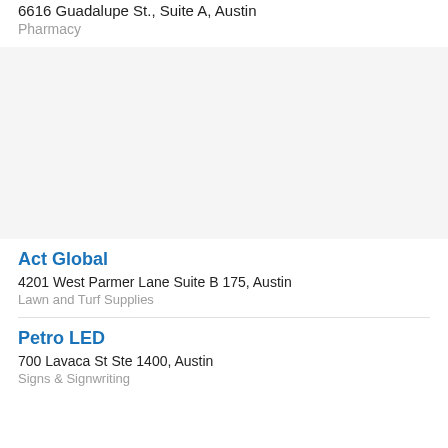6616 Guadalupe St., Suite A, Austin
Pharmacy
[Figure (other): Gray placeholder area representing a map or image]
Act Global
4201 West Parmer Lane Suite B 175, Austin
Lawn and Turf Supplies
Petro LED
700 Lavaca St Ste 1400, Austin
Signs & Signwriting